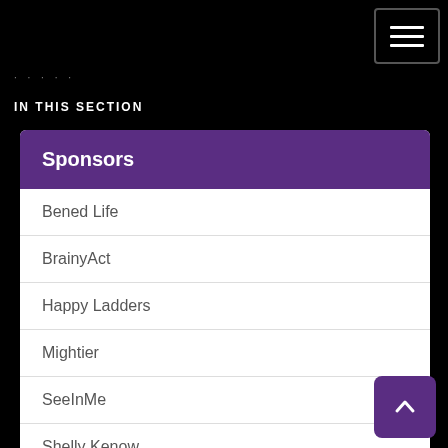≡
· · ·
IN THIS SECTION
Sponsors
Bened Life
BrainyAct
Happy Ladders
Mightier
SeeInMe
Shelly Kenow
SuperBill